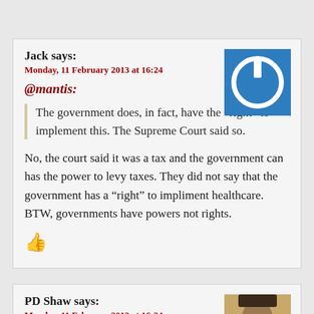Jack says:
Monday, 11 February 2013 at 16:24
[Figure (illustration): Blue square avatar with white power button icon]
@mantis:
The government does, in fact, have the “right” to implement this. The Supreme Court said so.
No, the court said it was a tax and the government can has the power to levy taxes. They did not say that the government has a “right” to impliment healthcare. BTW, governments have powers not rights.
[Figure (illustration): Red thumbs up icon]
PD Shaw says:
Monday, 11 February 2013 at 16:24
[Figure (photo): Black and white portrait photo of Abraham Lincoln]